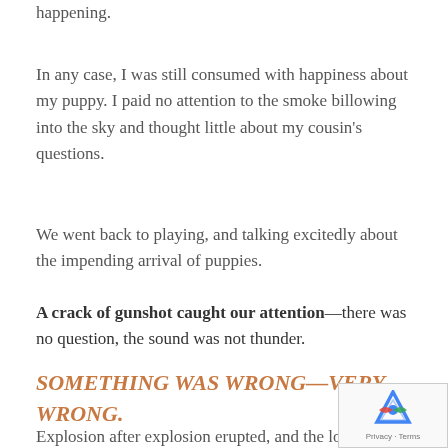happening.
In any case, I was still consumed with happiness about my puppy. I paid no attention to the smoke billowing into the sky and thought little about my cousin's questions.
We went back to playing, and talking excitedly about the impending arrival of puppies.
A crack of gunshot caught our attention—there was no question, the sound was not thunder.
SOMETHING WAS WRONG—VERY WRONG.
Explosion after explosion erupted, and the loud